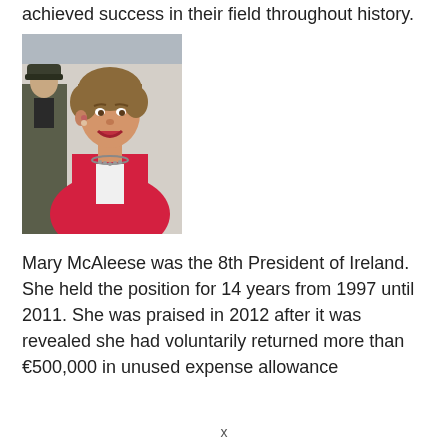achieved success in their field throughout history.
[Figure (photo): Photo of Mary McAleese, a woman with short brown hair wearing a red jacket and a necklace, smiling, with a uniformed officer visible in the background.]
Mary McAleese was the 8th President of Ireland. She held the position for 14 years from 1997 until 2011. She was praised in 2012 after it was revealed she had voluntarily returned more than €500,000 in unused expense allowance
x